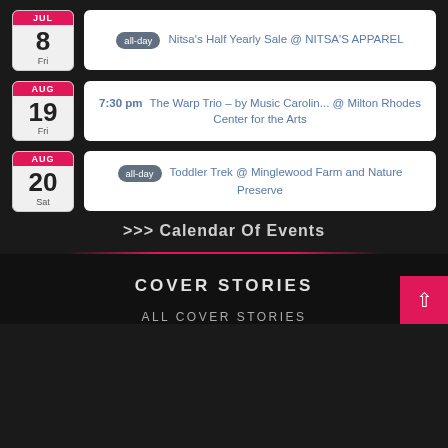JUL 8 Fri | all-day Nitsa's Half Yearly Sale @ NITSA'S APPAREL
AUG 19 Fri | 7:30 pm The Warp Trio – by Music Carolin... @ Milton Rhodes Center for the Arts
AUG 20 Sat | all-day Toddler Trek @ Minglewood Farm and Nature Preserve
>>> Calendar Of Events
COVER STORIES
ALL COVER STORIES